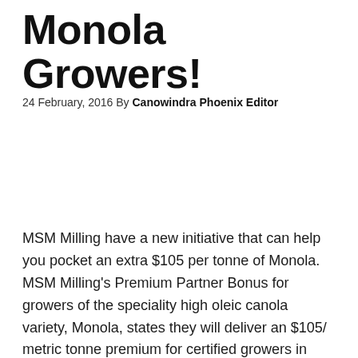Monola Growers!
24 February, 2016 By Canowindra Phoenix Editor
MSM Milling have a new initiative that can help you pocket an extra $105 per tonne of Monola. MSM Milling's Premium Partner Bonus for growers of the speciality high oleic canola variety, Monola, states they will deliver an $105/ metric tonne premium for certified growers in